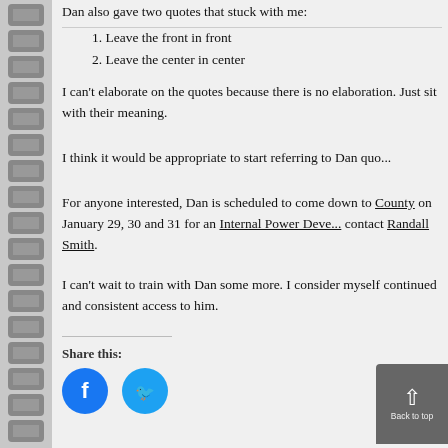Dan also gave two quotes that stuck with me:
1. Leave the front in front
2. Leave the center in center
I can't elaborate on the quotes because there is no elaboration. Just sit with their meaning.
I think it would be appropriate to start referring to Dan quo...
For anyone interested, Dan is scheduled to come down to County on January 29, 30 and 31 for an Internal Power Deve... contact Randall Smith.
I can't wait to train with Dan some more. I consider myself continued and consistent access to him.
Share this:
[Figure (other): Facebook and Twitter share buttons, and a back-to-top widget in the bottom right corner]